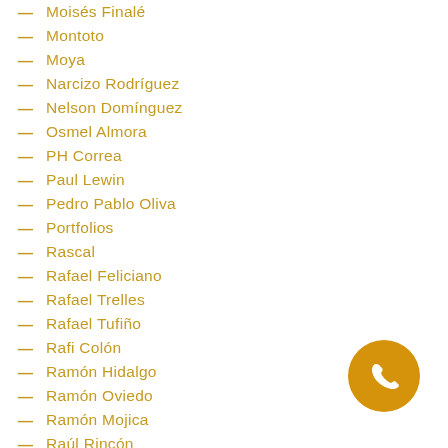Moisés Finalé
Montoto
Moya
Narcizo Rodríguez
Nelson Domínguez
Osmel Almora
PH Correa
Paul Lewin
Pedro Pablo Oliva
Portfolios
Rascal
Rafael Feliciano
Rafael Trelles
Rafael Tufiño
Rafi Colón
Ramón Hidalgo
Ramón Oviedo
Ramón Mojica
Raúl Rincón
[Figure (illustration): Orange circular phone/contact button icon in the bottom right corner]